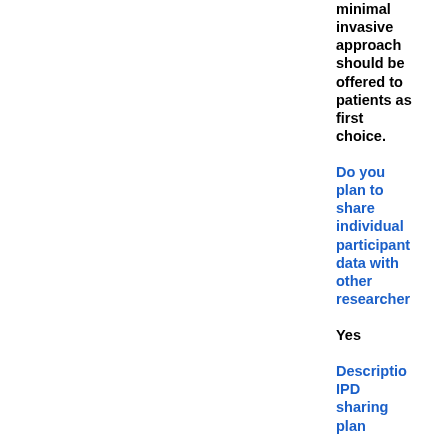minimal invasive approach should be offered to patients as first choice.
Do you plan to share individual participant data with other researchers
Yes
Description IPD sharing plan